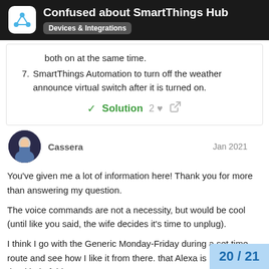Confused about SmartThings Hub — Devices & Integrations
both on at the same time.
SmartThings Automation to turn off the weather announce virtual switch after it is turned on.
✓ Solution  2 ♡ 🔗
Cassera  Jan 2021
You've given me a lot of information here! Thank you for more than answering my question.
The voice commands are not a necessity, but would be cool (until like you said, the wife decides it's time to unplug).
I think I go with the Generic Monday-Friday during a set time route and see how I like it from there. that Alexa is better off for that kind of thing
20 / 21